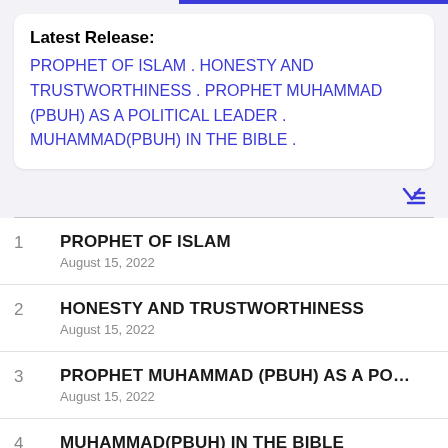Latest Release: PROPHET OF ISLAM . HONESTY AND TRUSTWORTHINESS . PROPHET MUHAMMAD (PBUH) AS A POLITICAL LEADER . MUHAMMAD(PBUH) IN THE BIBLE .
1  PROPHET OF ISLAM
August 15, 2022
2  HONESTY AND TRUSTWORTHINESS
August 15, 2022
3  PROPHET MUHAMMAD (PBUH) AS A PO...
August 15, 2022
4  MUHAMMAD(PBUH) IN THE BIBLE